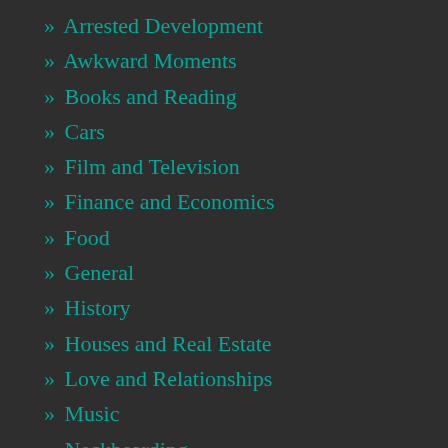» Arrested Development
» Awkward Moments
» Books and Reading
» Cars
» Film and Television
» Finance and Economics
» Food
» General
» History
» Houses and Real Estate
» Love and Relationships
» Music
» Neckbearding
» Pets and Animals